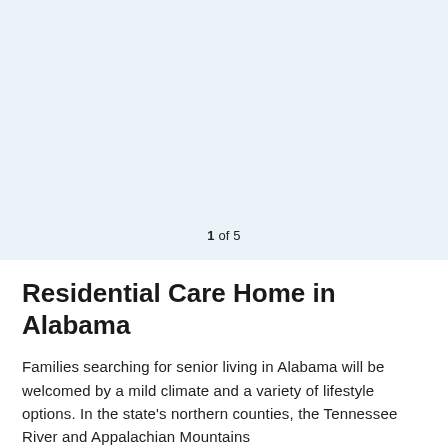[Figure (photo): Light blue/grey placeholder image area occupying the top portion of the page]
1 of 5
Residential Care Home in Alabama
Families searching for senior living in Alabama will be welcomed by a mild climate and a variety of lifestyle options. In the state's northern counties, the Tennessee River and Appalachian Mountains